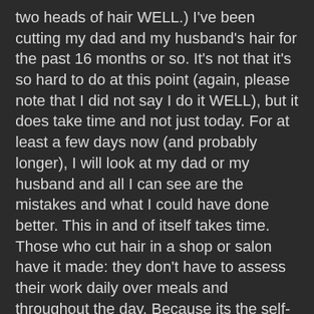two heads of hair WELL.) I've been cutting my dad and my husband's hair for the past 16 months or so. It's not that it's so hard to do at this point (again, please note that I did not say I do it WELL), but it does take time and not just today. For at least a few days now (and probably longer), I will look at my dad or my husband and all I can see are the mistakes and what I could have done better. This in and of itself takes time. Those who cut hair in a shop or salon have it made: they don't have to assess their work daily over meals and throughout the day. Because its the self-judgment that's the energy drain, innit?
And they have those comfy-ish chairs with the clever foot lever so they can smoothly move the head of hear up and down to a reachable height. We have … a kitchen stool for my dad. And for my husband we move